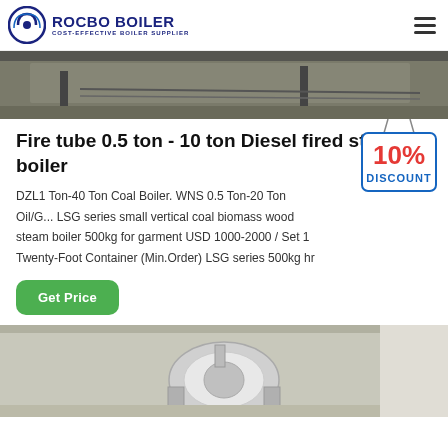ROCBO BOILER - COST-EFFECTIVE BOILER SUPPLIER
[Figure (photo): Top portion of a boiler installation site, showing industrial equipment and metal rods/pipes in a workshop setting]
Fire tube 0.5 ton - 10 ton Diesel fired steam boiler
DZL1 Ton-40 Ton Coal Boiler. WNS 0.5 Ton-20 Ton Oil/G... LSG series small vertical coal biomass wood steam boiler 500kg for garment USD 1000-2000 / Set 1 Twenty-Foot Container (Min.Order) LSG series 500kg hr
[Figure (infographic): 10% DISCOUNT badge/sticker graphic in red and blue]
[Figure (photo): Bottom photo of a steam boiler unit, showing a cylindrical silver/chrome boiler with pipe connections in a light-colored industrial room]